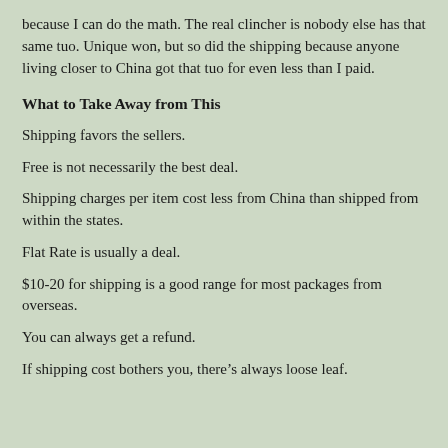because I can do the math. The real clincher is nobody else has that same tuo. Unique won, but so did the shipping because anyone living closer to China got that tuo for even less than I paid.
What to Take Away from This
Shipping favors the sellers.
Free is not necessarily the best deal.
Shipping charges per item cost less from China than shipped from within the states.
Flat Rate is usually a deal.
$10-20 for shipping is a good range for most packages from overseas.
You can always get a refund.
If shipping cost bothers you, there’s always loose leaf.